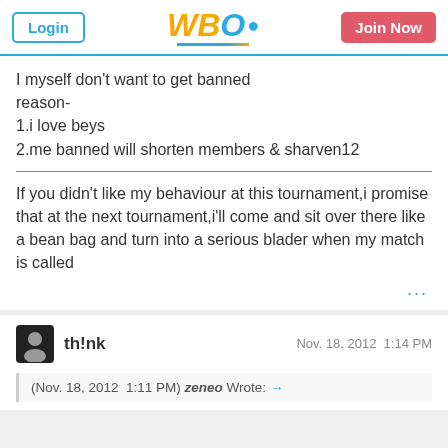WBO forum header with Login and Join Now buttons
I myself don't want to get banned
reason-
1.i love beys
2.me banned will shorten members & sharven12
If you didn't like my behaviour at this tournament,i promise that at the next tournament,i'll come and sit over there like a bean bag and turn into a serious blader when my match is called
th!nk   Nov. 18, 2012  1:14 PM
(Nov. 18, 2012  1:11 PM) zeneo Wrote: →